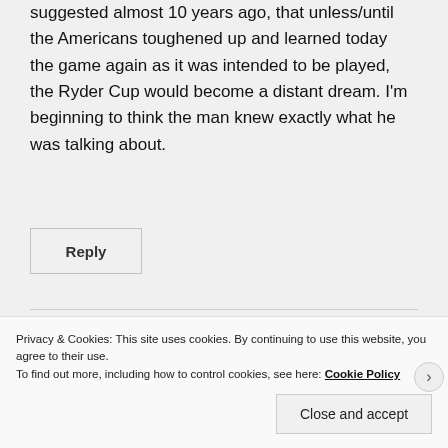suggested almost 10 years ago, that unless/until the Americans toughened up and learned today the game again as it was intended to be played, the Ryder Cup would become a distant dream. I'm beginning to think the man knew exactly what he was talking about.
Reply
Jim
Privacy & Cookies: This site uses cookies. By continuing to use this website, you agree to their use. To find out more, including how to control cookies, see here: Cookie Policy
Close and accept